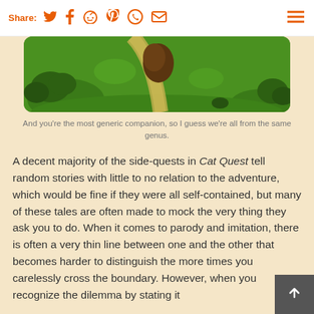Share: [twitter] [facebook] [reddit] [pinterest] [whatsapp] [email] [menu]
[Figure (screenshot): Screenshot from Cat Quest video game showing a green field landscape with a path, trees, and bushes in a stylized top-down view]
And you're the most generic companion, so I guess we're all from the same genus.
A decent majority of the side-quests in Cat Quest tell random stories with little to no relation to the adventure, which would be fine if they were all self-contained, but many of these tales are often made to mock the very thing they ask you to do. When it comes to parody and imitation, there is often a very thin line between one and the other that becomes harder to distinguish the more times you carelessly cross the boundary. However, when you recognize the dilemma by stating it bluntly, then become the observer from the…